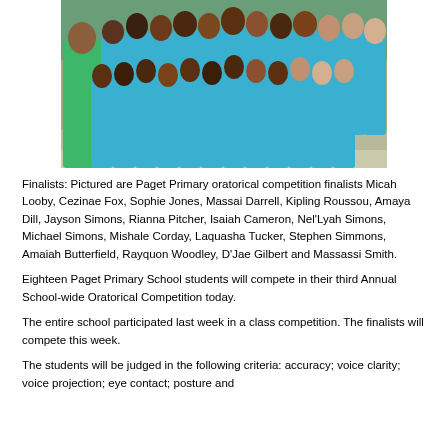[Figure (photo): Group photo of Paget Primary School students in blue polo shirts with a teacher in a green jacket, posed outdoors on steps.]
Finalists: Pictured are Paget Primary oratorical competition finalists Micah Looby, Cezinae Fox, Sophie Jones, Massai Darrell, Kipling Roussou, Amaya Dill, Jayson Simons, Rianna Pitcher, Isaiah Cameron, Nel'Lyah Simons, Michael Simons, Mishale Corday, Laquasha Tucker, Stephen Simmons, Amaiah Butterfield, Rayquon Woodley, D'Jae Gilbert and Massassi Smith.
Eighteen Paget Primary School students will compete in their third Annual School-wide Oratorical Competition today.
The entire school participated last week in a class competition. The finalists will compete this week.
The students will be judged in the following criteria: accuracy; voice clarity; voice projection; eye contact; posture and